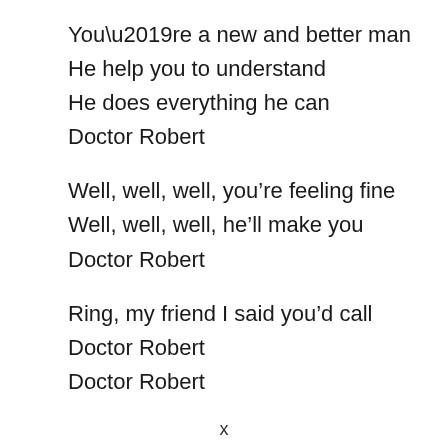You’re a new and better man
He help you to understand
He does everything he can
Doctor Robert
Well, well, well, you’re feeling fine
Well, well, well, he’ll make you
Doctor Robert
Ring, my friend I said you’d call
Doctor Robert
Doctor Robert
x